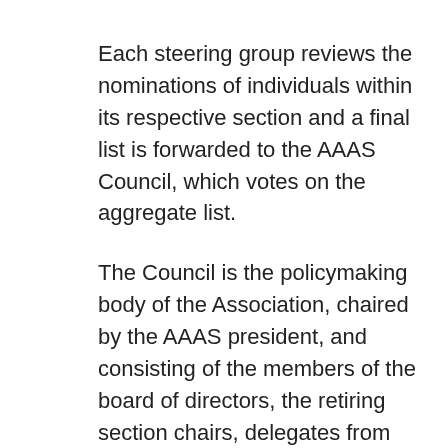Each steering group reviews the nominations of individuals within its respective section and a final list is forwarded to the AAAS Council, which votes on the aggregate list.
The Council is the policymaking body of the Association, chaired by the AAAS president, and consisting of the members of the board of directors, the retiring section chairs, delegates from each electorate and each regional division, and two delegates from the National Association of Academies of Science.
AAAS encourages its sections and Council to consider diversity among those nominated and selected as